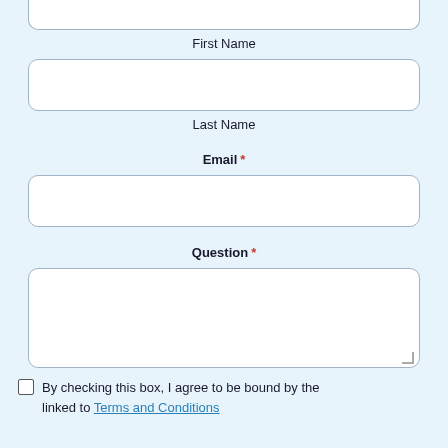First Name
Last Name
Email *
Question *
By checking this box, I agree to be bound by the linked to Terms and Conditions